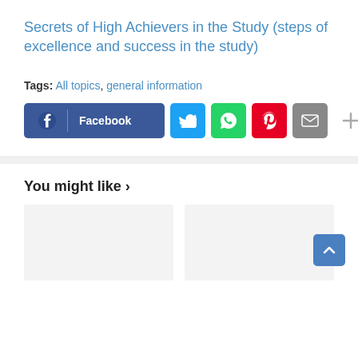Secrets of High Achievers in the Study (steps of excellence and success in the study)
Tags: All topics, general information
[Figure (screenshot): Social share buttons: Facebook, Twitter, WhatsApp, Pinterest, Email, and a plus button]
You might like ›
[Figure (illustration): Two placeholder card images side by side in light gray, with a back-to-top button in blue at the bottom right]